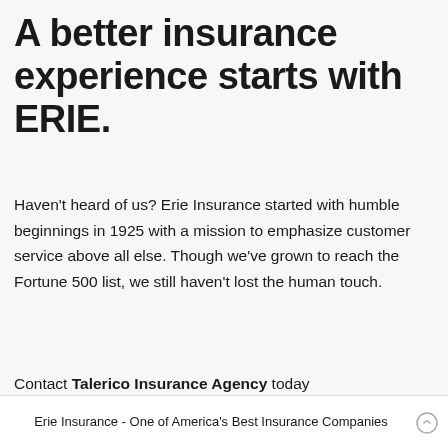A better insurance experience starts with ERIE.
Haven't heard of us? Erie Insurance started with humble beginnings in 1925 with a mission to emphasize customer service above all else. Though we've grown to reach the Fortune 500 list, we still haven't lost the human touch.
Contact Talerico Insurance Agency today
Erie Insurance - One of America's Best Insurance Companies